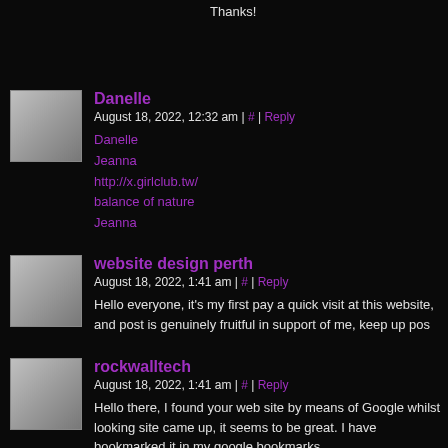Thanks!
Danelle
August 18, 2022, 12:32 am | # | Reply
Danelle
Jeanna
http://x.girlclub.tw/
balance of nature
Jeanna
website design perth
August 18, 2022, 1:41 am | # | Reply
Hello everyone, it's my first pay a quick visit at this website, and post is genuinely fruitful in support of me, keep up pos
rockwalltech
August 18, 2022, 1:41 am | # | Reply
Hello there, I found your web site by means of Google whilst looking site came up, it seems to be great. I have bookmarked it in my google bookmarks.
Hello there, simply changed into aware of your weblog thru Google. I'm going to watch out for brussels. I will be grateful if you happen to A lot of people will probably be benefited from your writing.
Cheers!